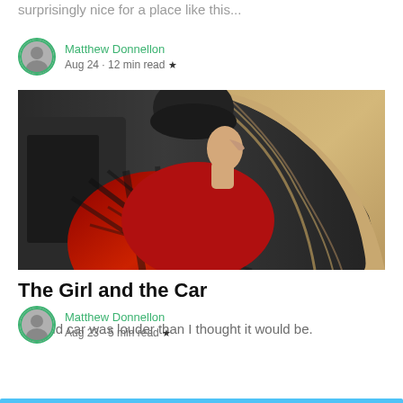surprisingly nice for a place like this...
Matthew Donnellon
Aug 24 · 12 min read ★
[Figure (photo): Side profile of a woman with long blonde hair wearing a red and black plaid flannel shirt and a dark beanie, photographed in a car interior, black and white background]
The Girl and the Car
The old car was louder than I thought it would be.
Matthew Donnellon
Aug 23 · 5 min read ★